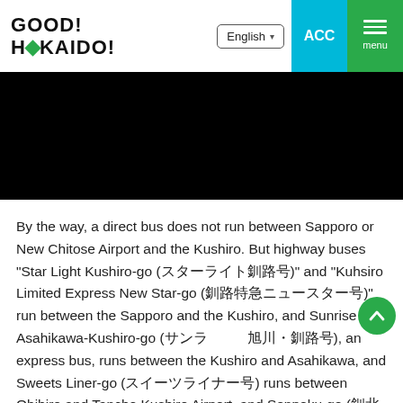GOOD! HOKKAIDO!
[Figure (photo): Black hero image banner area]
By the way, a direct bus does not run between Sapporo or New Chitose Airport and the Kushiro. But highway buses "Star Light Kushiro-go (スターライト釧路号)" and "Kuhsiro Limited Express New Star-go (釧路特急ニュースター号)" run between the Sapporo and the Kushiro, and Sunrise Asahikawa-Kushiro-go (サンライズ旭川・釧路号), an express bus, runs between the Kushiro and Asahikawa, and Sweets Liner-go (スイーツライナー号) runs between Obihiro and Tancho Kushiro Airport, and Senpoku-go (釧北号), an express bus, runs between the Kitami and the Kushiro,